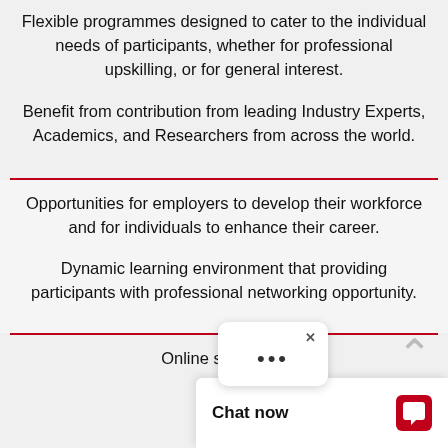Flexible programmes designed to cater to the individual needs of participants, whether for professional upskilling, or for general interest.
Benefit from contribution from leading Industry Experts, Academics, and Researchers from across the world.
Opportunities for employers to develop their workforce and for individuals to enhance their career.
Dynamic learning environment that providing participants with professional networking opportunity.
Online support fo...